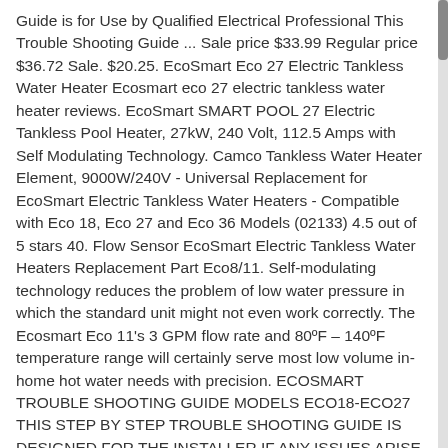Guide is for Use by Qualified Electrical Professional This Trouble Shooting Guide ... Sale price $33.99 Regular price $36.72 Sale. $20.25. EcoSmart Eco 27 Electric Tankless Water Heater Ecosmart eco 27 electric tankless water heater reviews. EcoSmart SMART POOL 27 Electric Tankless Pool Heater, 27kW, 240 Volt, 112.5 Amps with Self Modulating Technology. Camco Tankless Water Heater Element, 9000W/240V - Universal Replacement for EcoSmart Electric Tankless Water Heaters - Compatible with Eco 18, Eco 27 and Eco 36 Models (02133) 4.5 out of 5 stars 40. Flow Sensor EcoSmart Electric Tankless Water Heaters Replacement Part Eco8/11. Self-modulating technology reduces the problem of low water pressure in which the standard unit might not even work correctly. The Ecosmart Eco 11's 3 GPM flow rate and 80ºF – 140ºF temperature range will certainly serve most low volume in-home hot water needs with precision. ECOSMART TROUBLE SHOOTING GUIDE MODELS ECO18-ECO27 THIS STEP BY STEP TROUBLE SHOOTING GUIDE IS DESIGNED FOR THE INSTALLER IF ANY ISSUES ARISE WITH TANKLESS